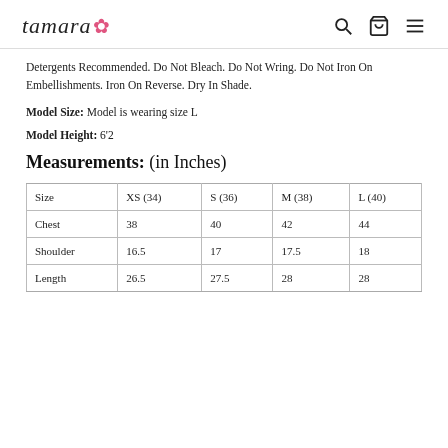tamara [logo with flower icon, search, cart, menu icons]
Detergents Recommended. Do Not Bleach. Do Not Wring. Do Not Iron On Embellishments. Iron On Reverse. Dry In Shade.
Model Size: Model is wearing size L
Model Height: 6'2
Measurements: (in Inches)
| Size | XS (34) | S (36) | M (38) | L (40) |
| --- | --- | --- | --- | --- |
| Chest | 38 | 40 | 42 | 44 |
| Shoulder | 16.5 | 17 | 17.5 | 18 |
| Length | 26.5 | 27.5 | 28 | 28 |